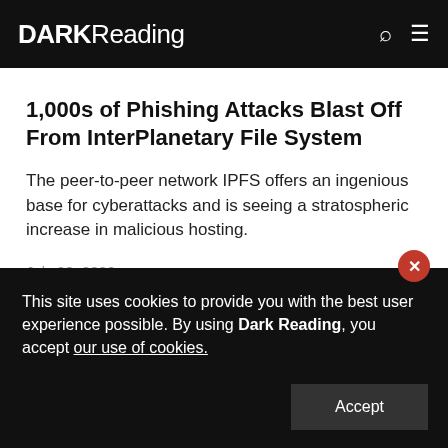DARK Reading
1,000s of Phishing Attacks Blast Off From InterPlanetary File System
The peer-to-peer network IPFS offers an ingenious base for cyberattacks and is seeing a stratospheric increase in malicious hosting.
July 28, 2022
This site uses cookies to provide you with the best user experience possible. By using Dark Reading, you accept our use of cookies.